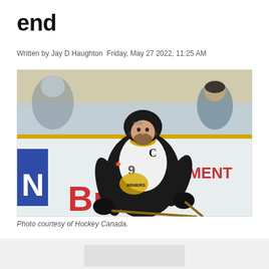end
Written by Jay D Haughton Friday, May 27 2022, 11:25 AM
[Figure (photo): A hockey player wearing a black and white Miners jersey with a captain's C, number 9, skating on ice with a hockey stick. Players and spectators visible in background. Rink boards show partial advertisement text 'PMENT' and 'Bread'.]
Photo courtesy of Hockey Canada.